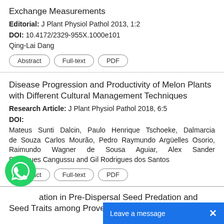Exchange Measurements
Editorial: J Plant Physiol Pathol 2013, 1:2
DOI: 10.4172/2329-955X.1000e101
Qing-Lai Dang
Disease Progression and Productivity of Melon Plants with Different Cultural Management Techniques
Research Article: J Plant Physiol Pathol 2018, 6:5
DOI:
Mateus Sunti Dalcin, Paulo Henrique Tschoeke, Dalmarcia de Souza Carlos Mourão, Pedro Raymundo Argüelles Osorio, Raimundo Wagner de Sousa Aguiar, Alex Sander Rodrigues Cangussu and Gil Rodrigues dos Santos
ation in Pre-Dispersal Seed Predation and Seed Traits among Provena